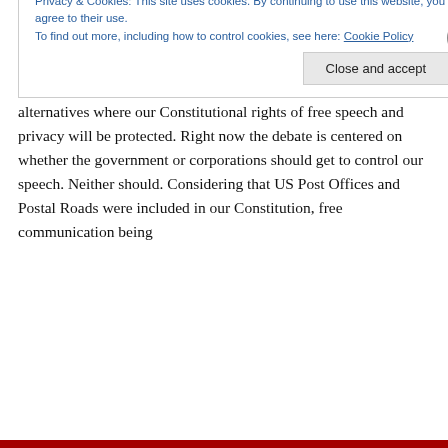so there will be opportunity here to demand a return to Greenbacks backed by tangible assets (like fiber broadband and hospitals). 3. Demand USER-CONTROLLED public Internet platform alternatives where our Constitutional rights of free speech and privacy will be protected. Right now the debate is centered on whether the government or corporations should get to control our speech. Neither should. Considering that US Post Offices and Postal Roads were included in our Constitution, free communication being
Privacy & Cookies: This site uses cookies. By continuing to use this website, you agree to their use. To find out more, including how to control cookies, see here: Cookie Policy
Close and accept